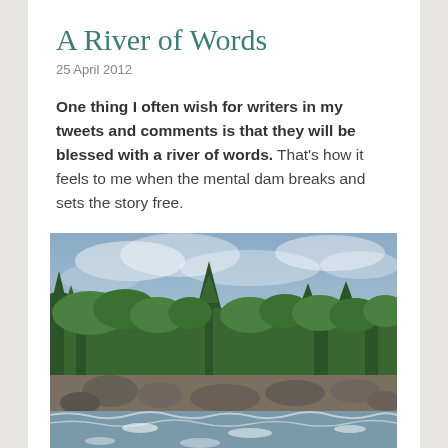A River of Words
25 April 2012
One thing I often wish for writers in my tweets and comments is that they will be blessed with a river of words. That's how it feels to me when the mental dam breaks and sets the story free.
[Figure (photo): Photograph of a rocky river with white water rapids in the foreground, dense green forest trees in the middle ground, and an overcast blue-grey sky in the background.]